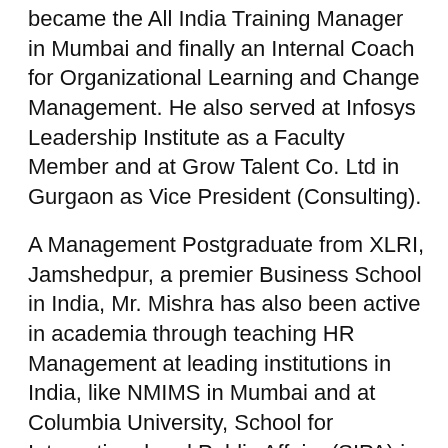became the All India Training Manager in Mumbai and finally an Internal Coach for Organizational Learning and Change Management. He also served at Infosys Leadership Institute as a Faculty Member and at Grow Talent Co. Ltd in Gurgaon as Vice President (Consulting).
A Management Postgraduate from XLRI, Jamshedpur, a premier Business School in India, Mr. Mishra has also been active in academia through teaching HR Management at leading institutions in India, like NMIMS in Mumbai and at Columbia University, School for International and Public Affairs (SIPA) in the United States.